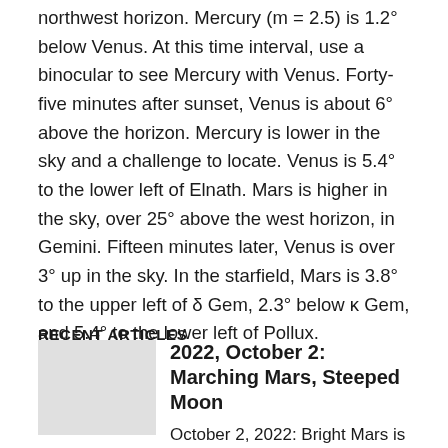northwest horizon.  Mercury (m = 2.5) is 1.2° below Venus.  At this time interval, use a binocular to see Mercury with Venus.  Forty-five minutes after sunset, Venus is about 6° above the horizon. Mercury is lower in the sky and a challenge to locate. Venus is 5.4° to the lower left of Elnath.  Mars is higher in the sky, over 25° above the west horizon, in Gemini. Fifteen minutes later, Venus is over 3° up in the sky.  In the starfield, Mars is 3.8° to the upper left of δ Gem, 2.3° below κ Gem, and 5.4° to the lower left of Pollux.
RECENT ARTICLES
2022, October 2: Marching Mars, Steeped Moon
October 2, 2022: Bright Mars is visible high in the southwest before